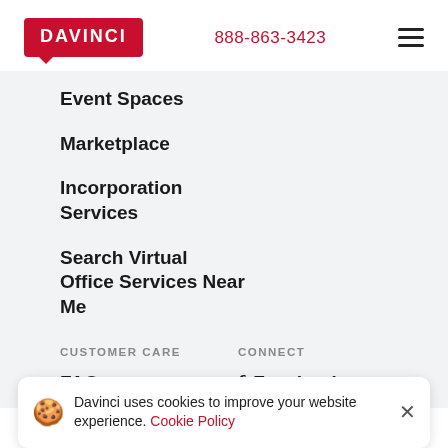[Figure (logo): Davinci logo - red rectangle with white bold text DAVINCI and speech bubble tail]
888-863-3423
[Figure (other): Hamburger menu icon - three horizontal lines]
Event Spaces
Marketplace
Incorporation Services
Search Virtual Office Services Near Me
CUSTOMER CARE
CONNECT
FAQ
Facebook
Davinci uses cookies to improve your website experience. Cookie Policy